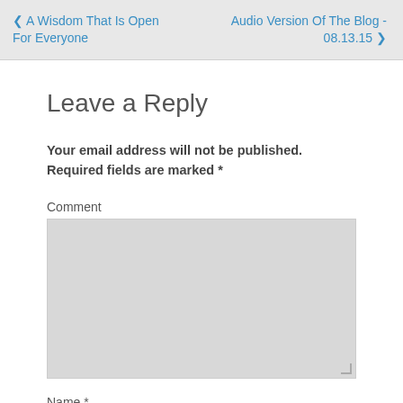❮ A Wisdom That Is Open For Everyone    Audio Version Of The Blog - 08.13.15 ❯
Leave a Reply
Your email address will not be published. Required fields are marked *
Comment
Name *